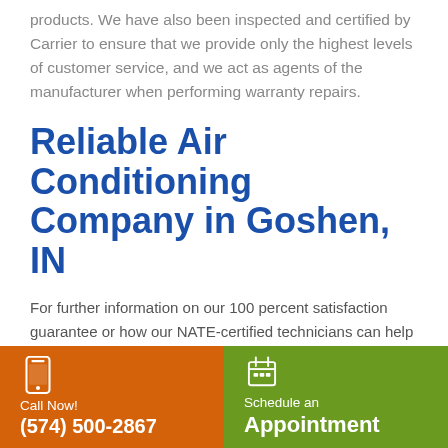products. We have also been inspected and certified by Carrier to ensure that we provide only the highest levels of customer service, and we act as agents of the manufacturer when performing warranty repairs.
Reliable Air Conditioning Company in Goshen, IN
For further information on our 100 percent satisfaction guarantee or how our NATE-certified technicians can help you with the installation
Call Now! (574) 500-2867
Schedule an Appointment